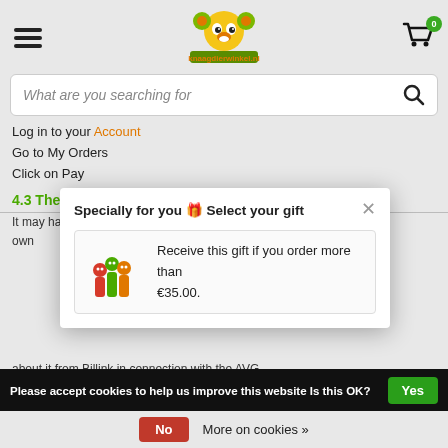[Figure (screenshot): Website header with hamburger menu, knaagdierwinkel.nl logo (cartoon animal), and shopping cart icon with badge showing 0]
[Figure (screenshot): Search bar with placeholder text 'What are you searching for' and search icon]
Log in to your Account
Go to My Orders
Click on Pay
4.3 The Billink payment has failed, what should I do?
It may happen that a Billink payment does not work. Billink uses its own approval system with which payment requests are approved. If this is
[Figure (screenshot): Modal popup: 'Specially for you 🎁 Select your gift' with close X button. Contains a gift card showing toy item image and text 'Receive this gift if you order more than €35.00.']
about it from Billink in connection with the AVG.
4.4 [gift icon] safely at DRD Knaagdierwinkel.nl?
Please accept cookies to help us improve this website Is this OK?
No   More on cookies »